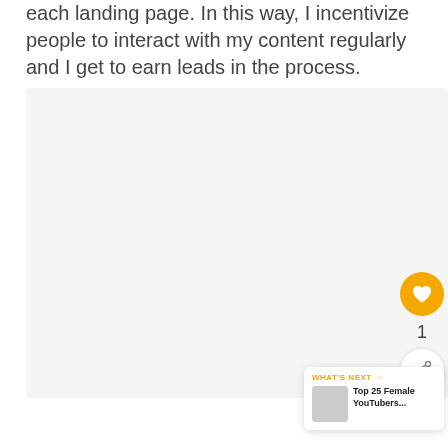each landing page. In this way, I incentivize people to interact with my content regularly and I get to earn leads in the process.
[Figure (screenshot): A large light gray image/embed area below the text block, occupying most of the page.]
[Figure (infographic): A 'What's Next' card in the bottom right corner showing a heart/like button, share button with count '1', and a 'Top 25 Female YouTubers...' recommendation card with thumbnail.]